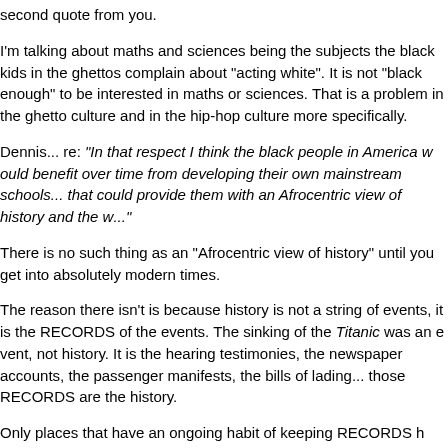second quote from you.
I'm talking about maths and sciences being the subjects the black kids in the ghettos complain about "acting white". It is not "black enough" to be interested in maths or sciences. That is a problem in the ghetto culture and in the hip-hop culture more specifically.
Dennis... re: "In that respect I think the black people in America would benefit over time from developing their own mainstream schools... that could provide them with an Afrocentric view of history and the w..."
There is no such thing as an "Afrocentric view of history" until you get into absolutely modern times.
The reason there isn't is because history is not a string of events, it is the RECORDS of the events. The sinking of the Titanic was an event, not history. It is the hearing testimonies, the newspaper accounts, the passenger manifests, the bills of lading... those RECORDS are the history.
Only places that have an ongoing habit of keeping RECORDS have "history"... because it is the records that ARE the history.
Everyone else has "anthropology".
Now, I know this because I did my degree work in